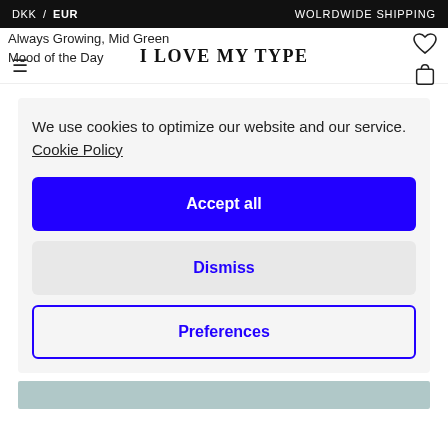DKK / EUR   WOLRDWIDE SHIPPING
Always Growing, Mid Green
Mood of the Day
I LOVE MY TYPE
We use cookies to optimize our website and our service.  Cookie Policy
Accept all
Dismiss
Preferences